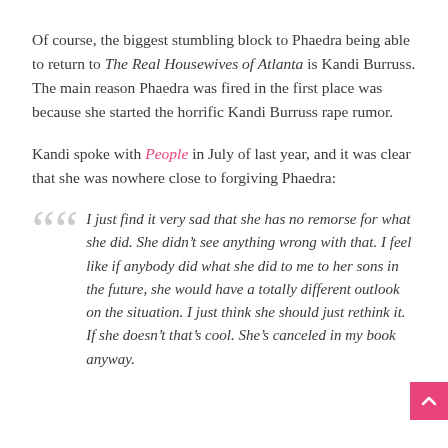Of course, the biggest stumbling block to Phaedra being able to return to The Real Housewives of Atlanta is Kandi Burruss. The main reason Phaedra was fired in the first place was because she started the horrific Kandi Burruss rape rumor.
Kandi spoke with People in July of last year, and it was clear that she was nowhere close to forgiving Phaedra:
I just find it very sad that she has no remorse for what she did. She didn’t see anything wrong with that. I feel like if anybody did what she did to me to her sons in the future, she would have a totally different outlook on the situation. I just think she should just rethink it. If she doesn’t that’s cool. She’s canceled in my book anyway.